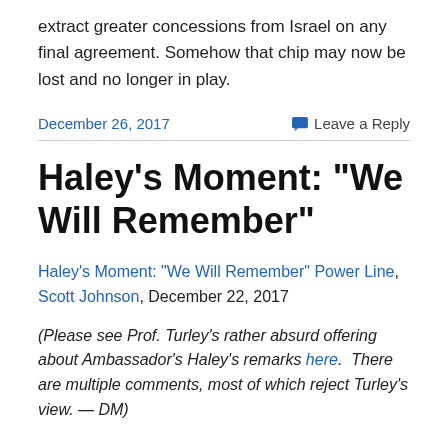extract greater concessions from Israel on any final agreement. Somehow that chip may now be lost and no longer in play.
December 26, 2017    Leave a Reply
Haley’s Moment: “We Will Remember”
Haley’s Moment: “We Will Remember” Power Line,  Scott Johnson, December 22, 2017
(Please see Prof. Turley’s rather absurd offering about Ambassador’s Haley’s remarks here.  There are multiple comments, most of which reject Turley’s view. — DM)